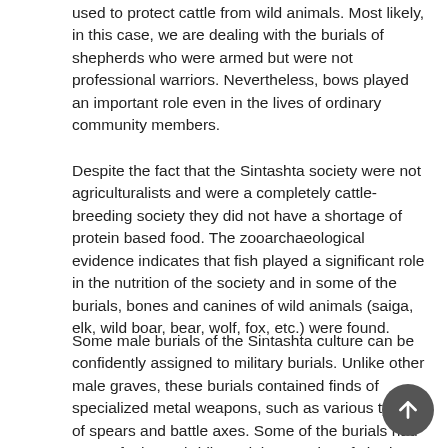used to protect cattle from wild animals. Most likely, in this case, we are dealing with the burials of shepherds who were armed but were not professional warriors. Nevertheless, bows played an important role even in the lives of ordinary community members.
Despite the fact that the Sintashta society were not agriculturalists and were a completely cattle-breeding society they did not have a shortage of protein based food. The zooarchaeological evidence indicates that fish played a significant role in the nutrition of the society and in some of the burials, bones and canines of wild animals (saiga, elk, wild boar, bear, wolf, fox, etc.) were found.
Some male burials of the Sintashta culture can be confidently assigned to military burials. Unlike other male graves, these burials contained finds of specialized metal weapons, such as various types of spears and battle axes. Some of the burials had parts of a horse bridle and the remains of chariot parts. Interestingly, it was within these militarized burials that the richest sets of arrowheads were found, including exceptional massive stone arrowheads as well as bronze arrowheads (Gening, V.F., Zdanovich and Gening, V.V., 1992, p.321).